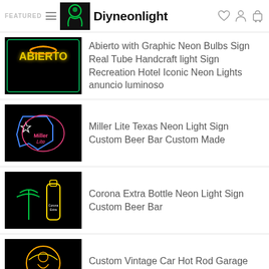FEATURED — Diyneonlight
[Figure (photo): Abierto neon sign product thumbnail on black background]
Abierto with Graphic Neon Bulbs Sign Real Tube Handcraft light Sign Recreation Hotel Iconic Neon Lights anuncio luminoso
[Figure (photo): Miller Lite Texas neon light sign product thumbnail on black background]
Miller Lite Texas Neon Light Sign Custom Beer Bar Custom Made
[Figure (photo): Corona Extra Bottle neon light sign product thumbnail on black background]
Corona Extra Bottle Neon Light Sign Custom Beer Bar
[Figure (photo): St Pauli Girl vintage car hot rod garage neon light sign product thumbnail]
Custom Vintage Car Hot Rod Garage Neon Light Sign Custom Beer Bar
ON SALE